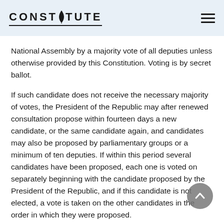CONSTITUTE
National Assembly by a majority vote of all deputies unless otherwise provided by this Constitution. Voting is by secret ballot.
If such candidate does not receive the necessary majority of votes, the President of the Republic may after renewed consultation propose within fourteen days a new candidate, or the same candidate again, and candidates may also be proposed by parliamentary groups or a minimum of ten deputies. If within this period several candidates have been proposed, each one is voted on separately beginning with the candidate proposed by the President of the Republic, and if this candidate is not elected, a vote is taken on the other candidates in the order in which they were proposed.